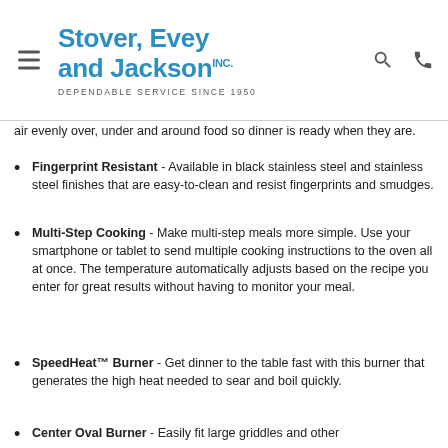Stover, Evey and Jackson Inc. DEPENDABLE SERVICE SINCE 1950
air evenly over, under and around food so dinner is ready when they are.
Fingerprint Resistant - Available in black stainless steel and stainless steel finishes that are easy-to-clean and resist fingerprints and smudges.
Multi-Step Cooking - Make multi-step meals more simple. Use your smartphone or tablet to send multiple cooking instructions to the oven all at once. The temperature automatically adjusts based on the recipe you enter for great results without having to monitor your meal.
SpeedHeat™ Burner - Get dinner to the table fast with this burner that generates the high heat needed to sear and boil quickly.
Center Oval Burner - Easily fit large griddles and other